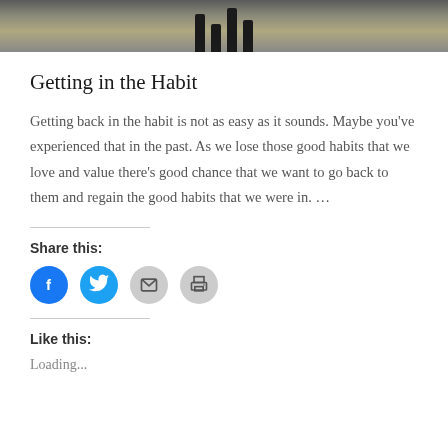[Figure (photo): Bottom portion of a photo showing horse legs against a grass/field background]
Getting in the Habit
Getting back in the habit is not as easy as it sounds. Maybe you’ve experienced that in the past. As we lose those good habits that we love and value there’s good chance that we want to go back to them and regain the good habits that we were in. …
Share this:
[Figure (infographic): Social share icons: Facebook (blue circle), Twitter (blue circle), Email (gray circle), Print (gray circle)]
Like this:
Loading...